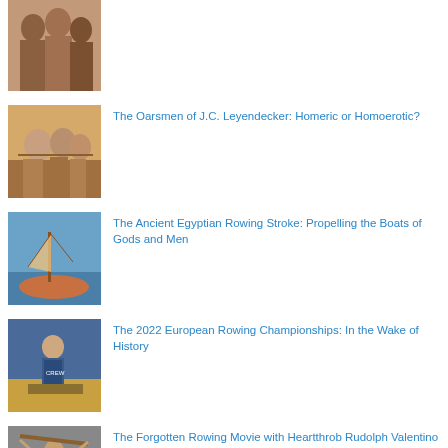[Figure (photo): Partial view of a group photo, top of page cut off]
[Figure (photo): People rowing or working with oars on rocky shore]
The Oarsmen of J.C. Leyendecker: Homeric or Homoerotic?
[Figure (photo): Ancient wooden boat on water with mast and rigging]
The Ancient Egyptian Rowing Stroke: Propelling the Boats of Gods and Men
[Figure (photo): Rower in team gear seated in a boat]
The 2022 European Rowing Championships: In the Wake of History
[Figure (photo): Person holding oars overhead, partial view]
The Forgotten Rowing Movie with Heartthrob Rudolph Valentino